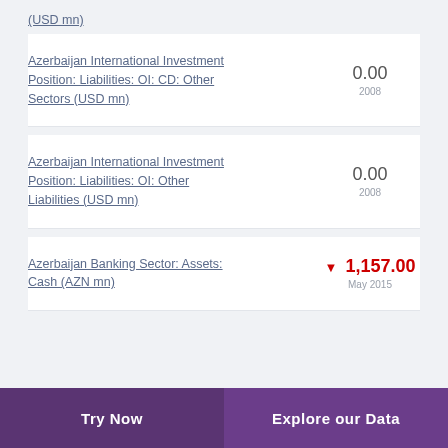(USD mn)
Azerbaijan International Investment Position: Liabilities: OI: CD: Other Sectors (USD mn)
Azerbaijan International Investment Position: Liabilities: OI: Other Liabilities (USD mn)
Azerbaijan Banking Sector: Assets: Cash (AZN mn)
Try Now | Explore our Data